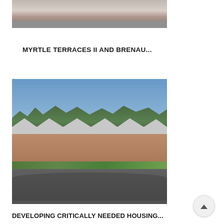[Figure (photo): Exterior photo of a brick apartment or housing complex with parking lot, partially cropped at top of page]
MYRTLE TERRACES II AND BRENAU...
[Figure (photo): Exterior photo of newly built single-story brick townhouse units with metal roofs, young trees, green lawn, and curved driveway/parking area under clear blue sky]
DEVELOPING CRITICALLY NEEDED HOUSING...